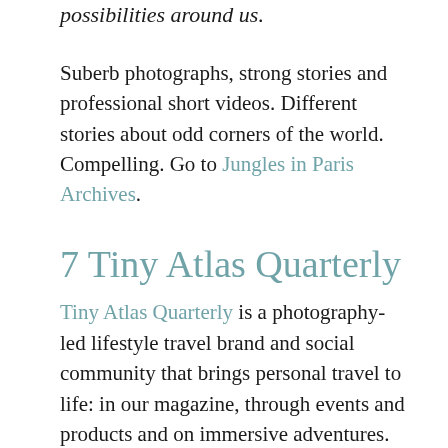possibilities around us.
Suberb photographs, strong stories and professional short videos. Different stories about odd corners of the world. Compelling. Go to Jungles in Paris Archives.
7 Tiny Atlas Quarterly
Tiny Atlas Quarterly is a photography-led lifestyle travel brand and social community that brings personal travel to life: in our magazine, through events and products and on immersive adventures.